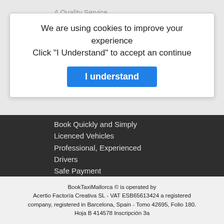We are using cookies to improve your experience
Click "I Understand" to accept an continue
A Quality Service
A service Tailored to your needs
Book in advance a
Secure your transfer
Book Quickly and Simply
Licenced Vehicles
Professional, Experienced Drivers
Safe Payment
Travel Peacefully
Testimonials
Summer Deal
Things to see in Mallorca
Top Destinations
BookTaxiMallorca © is operated by Acertio Factoría Creativa SL - VAT ESB65613424 a registered company, registered in Barcelona, Spain - Tomo 42695, Folio 180. Hoja B 414578 Inscripción 3a